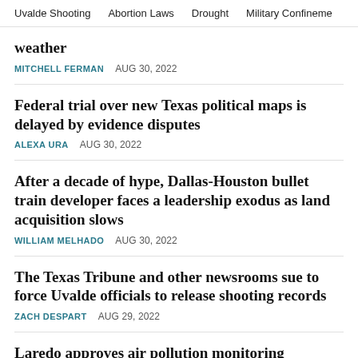Uvalde Shooting   Abortion Laws   Drought   Military Confinement
weather
MITCHELL FERMAN   AUG 30, 2022
Federal trial over new Texas political maps is delayed by evidence disputes
ALEXA URA   AUG 30, 2022
After a decade of hype, Dallas-Houston bullet train developer faces a leadership exodus as land acquisition slows
WILLIAM MELHADO   AUG 30, 2022
The Texas Tribune and other newsrooms sue to force Uvalde officials to release shooting records
ZACH DESPART   AUG 29, 2022
Laredo approves air pollution monitoring following ProPublica and Texas Tribune investigation